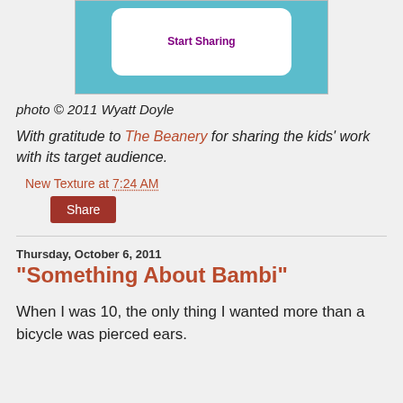[Figure (photo): A hand-drawn sign on teal/blue paper with colorful handwritten text and a white background cutout, reading 'Start Sharing' with decorative elements]
photo © 2011 Wyatt Doyle
With gratitude to The Beanery for sharing the kids' work with its target audience.
New Texture at 7:24 AM
Share
Thursday, October 6, 2011
"Something About Bambi"
When I was 10, the only thing I wanted more than a bicycle was pierced ears.